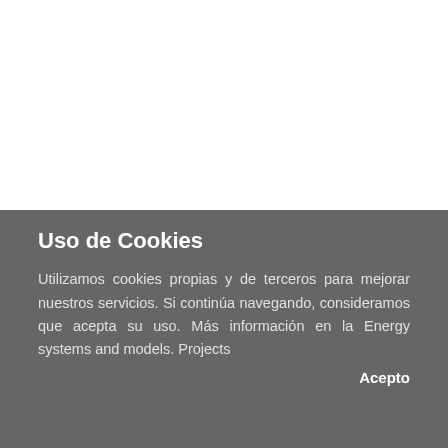Uso de Cookies
Utilizamos cookies propias y de terceros para mejorar nuestros servicios. Si continúa navegando, consideramos que acepta su uso. Más información en la Energy systems and models. Projects
Acepto